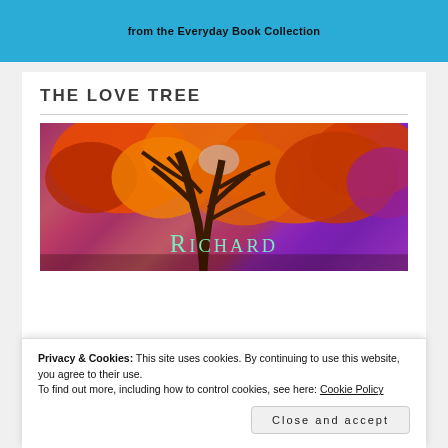from the Everyday Book Collection
THE LOVE TREE
[Figure (illustration): Colorful painting of an autumn tree with orange and red foliage against a purple sky, with the name 'Richard' written at the bottom in teal/mint lettering]
Privacy & Cookies: This site uses cookies. By continuing to use this website, you agree to their use.
To find out more, including how to control cookies, see here: Cookie Policy
Close and accept